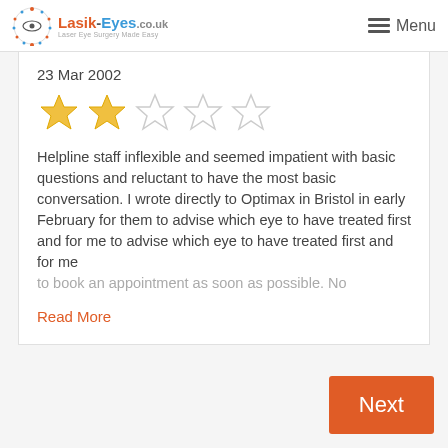Lasik-Eyes.co.uk — Menu
23 Mar 2002
[Figure (other): 2 out of 5 stars rating (2 filled gold stars, 3 empty stars)]
Helpline staff inflexible and seemed impatient with basic questions and reluctant to have the most basic conversation. I wrote directly to Optimax in Bristol in early February for them to advise which eye to have treated first and for me to book an appointment as soon as possible. No
Read More